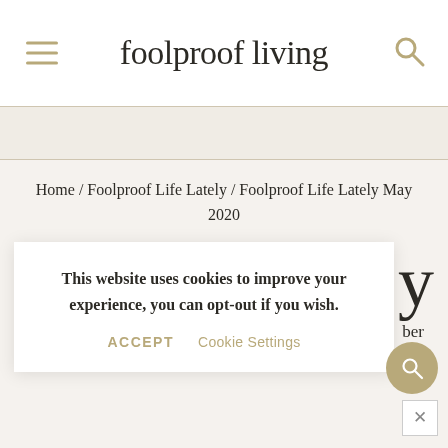foolproof living
Home / Foolproof Life Lately / Foolproof Life Lately May 2020
This website uses cookies to improve your experience, you can opt-out if you wish.
ACCEPT   Cookie Settings
2021 · By Aysegul Sanford
Today, we are taking a look back at May 2020. This